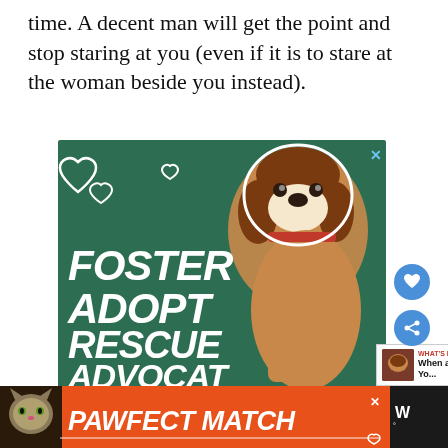time. A decent man will get the point and stop staring at you (even if it is to stare at the woman beside you instead).
[Figure (illustration): Advertisement banner for pet foster/adopt/rescue/advocate with an image of a beagle dog on a dark green background. White bold italic text reads FOSTER, ADOPT, RESCUE, ADVOCATE. Heart outlines in top left. Blue X close button top right.]
[Figure (illustration): Bottom banner advertisement with orange background showing a cat photo on left, bold white italic text reading PAWFECT MATCH, with a close X button. Wunderkind logo area on the right in dark background.]